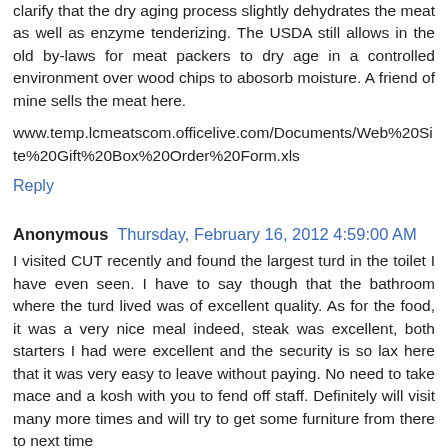clarify that the dry aging process slightly dehydrates the meat as well as enzyme tenderizing. The USDA still allows in the old by-laws for meat packers to dry age in a controlled environment over wood chips to abosorb moisture. A friend of mine sells the meat here.
www.temp.lcmeatscom.officelive.com/Documents/Web%20Site%20Gift%20Box%20Order%20Form.xls
Reply
Anonymous  Thursday, February 16, 2012 4:59:00 AM
I visited CUT recently and found the largest turd in the toilet I have even seen. I have to say though that the bathroom where the turd lived was of excellent quality. As for the food, it was a very nice meal indeed, steak was excellent, both starters I had were excellent and the security is so lax here that it was very easy to leave without paying. No need to take mace and a kosh with you to fend off staff. Definitely will visit many more times and will try to get some furniture from there to next time
Reply